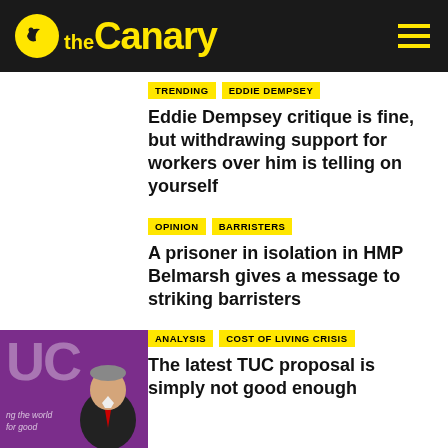the Canary
TRENDING  EDDIE DEMPSEY
Eddie Dempsey critique is fine, but withdrawing support for workers over him is telling on yourself
OPINION  BARRISTERS
A prisoner in isolation in HMP Belmarsh gives a message to striking barristers
[Figure (photo): Purple background with large UC letters and a person (Jeremy Corbyn) in a suit with red tie]
ANALYSIS  COST OF LIVING CRISIS
The latest TUC proposal is simply not good enough